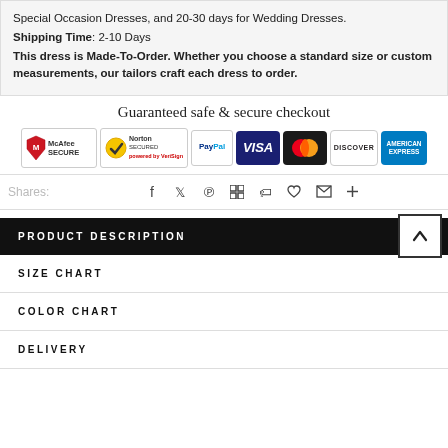Special Occasion Dresses, and 20-30 days for Wedding Dresses.
Shipping Time: 2-10 Days
This dress is Made-To-Order. Whether you choose a standard size or custom measurements, our tailors craft each dress to order.
Guaranteed safe & secure checkout
[Figure (logo): Payment badges: McAfee SECURE, Norton SECURED by VeriSign, PayPal, Visa, Mastercard, Discover, American Express]
Shares:
[Figure (infographic): Social sharing icons: Facebook, Twitter, Pinterest, Google+, Fancy, Wanelo, Email, More]
PRODUCT DESCRIPTION
SIZE CHART
COLOR CHART
DELIVERY